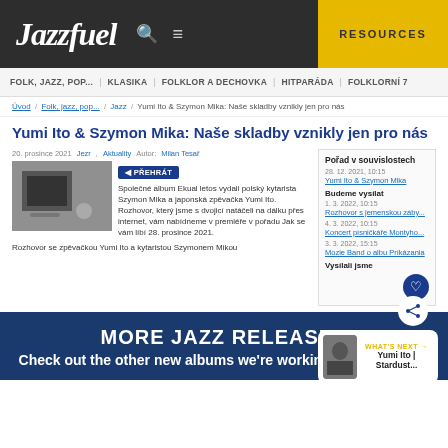Jazzfuel | RESOURCES
FOLK, JAZZ, POP... | KLASIKA | FOLKLOR A DECHOVKA | HITPARÁDA | FOLKLORNÍ 7
Úvod / Folk, jazz, pop... / Jazz / Yumi Ito & Szymon Mika: Naše skladby vznikly jen pro nás
Yumi Ito & Szymon Mika: Naše skladby vznikly jen pro nás
20. prosince 2021   Jezr, Aktuality   Autor: Milan Tesař
◄PŘEHRÁT
Společné album Ekual letos vydali polský kytarista Szymon Mika a japonská zpěvačka Yumi Ito. Rozhovor, který jsme s dvojicí natáčeli na dálku přes internet, vám nabídneme v premiéře v pořadu Jak se vám líbí 28. prosince 2021.
Rozhovor se zpěvačkou Yumi Ito a kytaristou Szymonem Mikou
Pořad v souvislostech
28. 12. 2021, 10:15
Yumi Ito & Szymon Mika
Budeme vysílat
1. 3. 2022, 10:15
Rozhovor s jemenskou záby...
4. 3. 2022, 10:15
Koncert písničkáře Montyho...
3. 3. 2022, 15:15
Mozie Band o albu Príkázania
Vysílali jsme
MORE JAZZ RELEASES
Check out the other new albums we're working with right now
WHAT'S NEXT → Yumi Ito | Stardust...